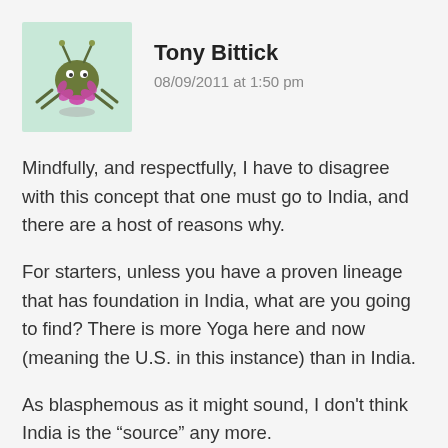[Figure (illustration): Cartoon bug/insect character with antennae, green body, pink/purple flower-like base, floating above a shadow, on a light green background square]
Tony Bittick
08/09/2011 at 1:50 pm
Mindfully, and respectfully, I have to disagree with this concept that one must go to India, and there are a host of reasons why.
For starters, unless you have a proven lineage that has foundation in India, what are you going to find? There is more Yoga here and now (meaning the U.S. in this instance) than in India.
As blasphemous as it might sound, I don’t think India is the “source” any more.
Don’t get me wrong, I’m all about roots, history and respect of the same. I’m just